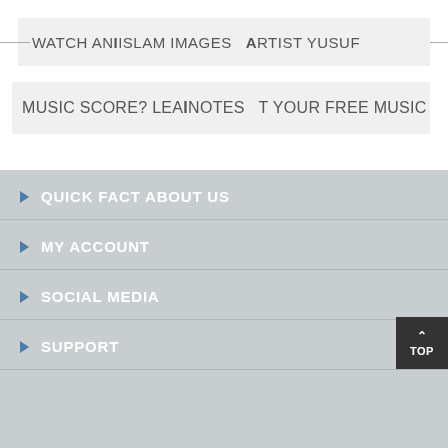[Figure (screenshot): Advertisement banner 1: WATCH AN IISLAM IMAGES ARTIST YUSUF on light grey background with horizontal lines on both sides]
[Figure (screenshot): Advertisement banner 2: MUSIC SCORE? LEAINOTES T YOUR FREE MUSIC on light grey background]
QUICK FACT ABOUT US
MY ACCOUNT
SOCIAL MEDIA
SUPPORT